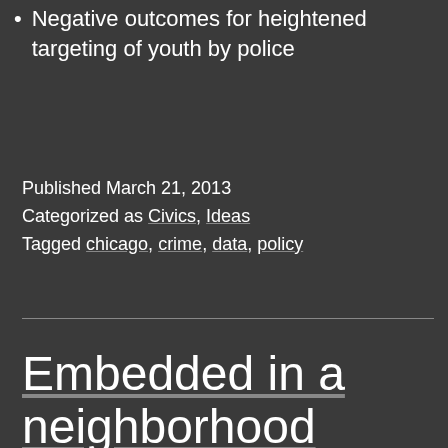Negative outcomes for heightened targeting of youth by police
Published March 21, 2013
Categorized as Civics, Ideas
Tagged chicago, crime, data, policy
Embedded in a neighborhood